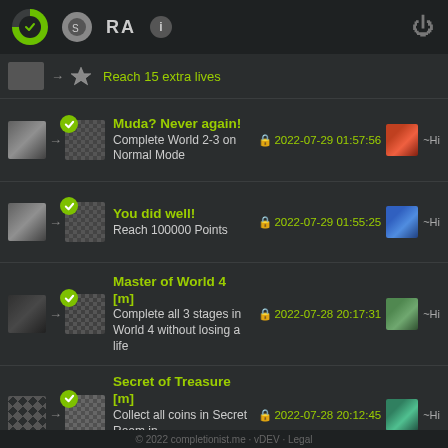RA  (info)  [power button]
Reach 15 extra lives
Muda? Never again! — Complete World 2-3 on Normal Mode — 2022-07-29 01:57:56 — ~Hi
You did well! — Reach 100000 Points — 2022-07-29 01:55:25 — ~Hi
Master of World 4 [m] — Complete all 3 stages in World 4 without losing a life — 2022-07-28 20:17:31 — ~Hi
Secret of Treasure [m] — Collect all coins in Secret Room in World 4-? — 2022-07-28 20:12:45 — ~Hi
© 2022 completionist.me · vDEV · Legal